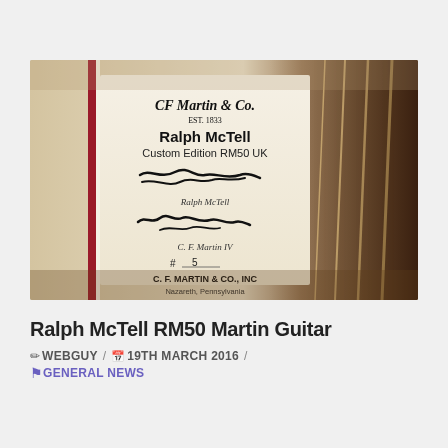[Figure (photo): Close-up photo of a guitar label inside an acoustic guitar showing CF Martin & Co EST. 1833, Ralph McTell, Custom Edition RM50 UK, with signatures of Ralph McTell and C.F. Martin IV, numbered #5, C.F. Martin & Co. Inc., Nazareth Pennsylvania. Guitar strings visible on the right side.]
Ralph McTell RM50 Martin Guitar
✏ WEBGUY / 📅 19TH MARCH 2016 / 🔖 GENERAL NEWS